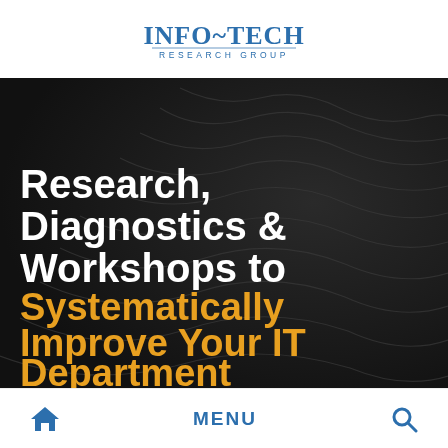[Figure (logo): Info-Tech Research Group logo with tilde between Info and Tech]
[Figure (illustration): Dark hero banner with abstract wavy line pattern on dark background containing title text]
Research, Diagnostics & Workshops to Systematically Improve Your IT Department
Home icon | MENU | Search icon